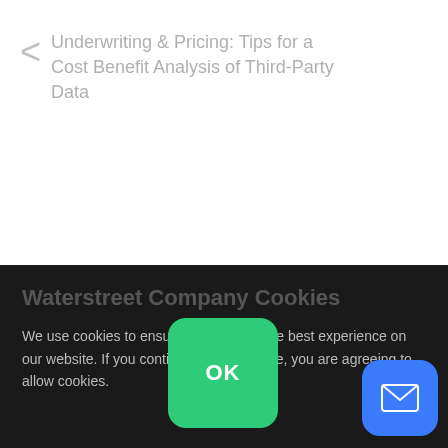Underwriting & Pricing: Tips for a Cost Benefit Analysis of Third-Party Data
Waterstreet Company Cookies
We use cookies to ensure we give you the best experience on our website. If you continue to use the site, you are agreeing to allow cookies.
[Figure (screenshot): Green OK button overlay and blue mail icon button in bottom-right corner]